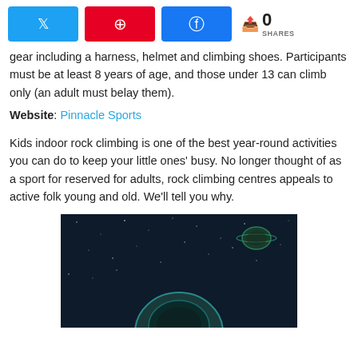[Figure (infographic): Social sharing buttons: Twitter (blue), Pinterest (red), Facebook (blue), and a share count showing 0 SHARES]
gear including a harness, helmet and climbing shoes. Participants must be at least 8 years of age, and those under 13 can climb only (an adult must belay them).
Website: Pinnacle Sports
Kids indoor rock climbing is one of the best year-round activities you can do to keep your little ones' busy. No longer thought of as a sport for reserved for adults, rock climbing centres appeals to active folk young and old. We'll tell you why.
[Figure (illustration): Dark space-themed illustration with stars, a planet, and an astronaut helmet visible at the bottom edge]